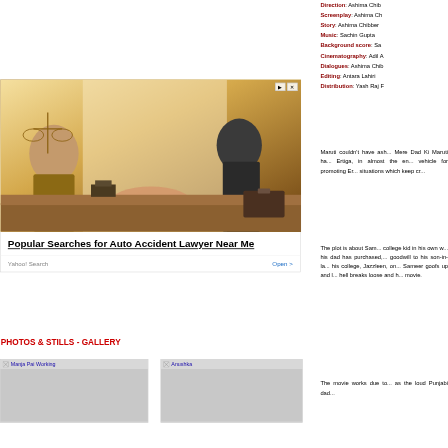Direction: Ashima Chibber
Screenplay: Ashima Ch...
Story: Ashima Chibber
Music: Sachin Gupta
Background score: Sa...
Cinematography: Adil A...
Dialogues: Ashima Chib...
Editing: Antara Lahiri
Distribution: Yash Raj F...
[Figure (photo): Advertisement image showing two businesspeople shaking hands across a desk with scales of justice and a briefcase visible in the background]
Popular Searches for Auto Accident Lawyer Near Me
Yahoo! Search    Open >
PHOTOS & STILLS - GALLERY
[Figure (photo): Thumbnail: Manja Pai Working]
[Figure (photo): Thumbnail: Anushka]
Maruti couldn't have ash... Mere Dad Ki Maruti ha... Ertiga, in almost the en... vehicle for promoting Er... situations which keep cr...
The plot is about Sam... college kid in his own w... his dad has purchased,... goodwill to his son-in-la... his college, Jazzleen, on... Sameer goofs up and l... hell breaks loose and h... movie.
The movie works due to... as the loud Punjabi dad...